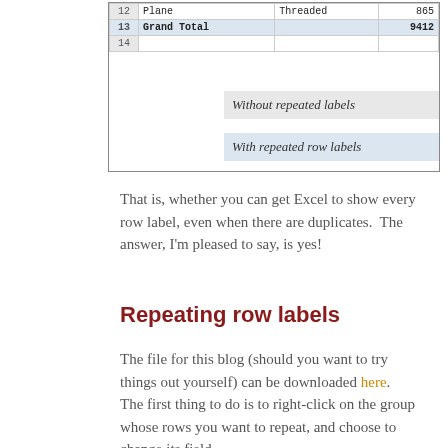[Figure (screenshot): Screenshot of a pivot table showing rows 12 (Plane, Threaded, 865) and 13 (Grand Total, 9412), row 14 empty, with two overlapping label boxes: 'Without repeated labels' (gray) and 'With repeated row labels' (blue)]
That is, whether you can get Excel to show every row label, even when there are duplicates.  The answer, I'm pleased to say, is yes!
Repeating row labels
The file for this blog (should you want to try things out yourself) can be downloaded here.  The first thing to do is to right-click on the group whose rows you want to repeat, and choose to change its field